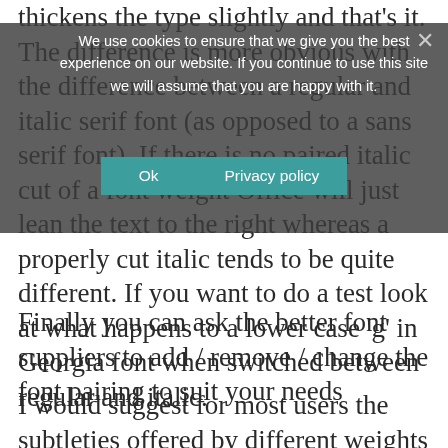thickens the type slightly and that's it. The difference is more obvious with the difference between a regular and italic serif font (as opposed to a sans serif font). If there is no paired italic cut of a font weight Office will just lean the text to the right whereas a properly cut italic tends to be quite different. If you want to do a test look at what happens to a lower case 'g' in Georgia font when switched between regular and italic.
[Figure (screenshot): Cookie consent overlay with dark semi-transparent background containing text: 'We use cookies to ensure that we give you the best experience on our website. If you continue to use this site we will assume that you are happy with it.' with Ok and Privacy policy buttons in teal, and an X close button.]
Finally you can ask the better font suppliers to add / remove / change the font pairing to suit your needs
I would suggest for most users the subtleties offered by different weights often goes over their heads. Where companies have an internal marketing/design department they may need